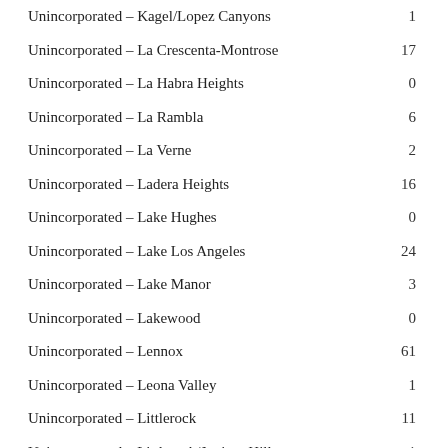| Location | Count |
| --- | --- |
| Unincorporated – Kagel/Lopez Canyons | 1 |
| Unincorporated – La Crescenta-Montrose | 17 |
| Unincorporated – La Habra Heights | 0 |
| Unincorporated – La Rambla | 6 |
| Unincorporated – La Verne | 2 |
| Unincorporated – Ladera Heights | 16 |
| Unincorporated – Lake Hughes | 0 |
| Unincorporated – Lake Los Angeles | 24 |
| Unincorporated – Lake Manor | 3 |
| Unincorporated – Lakewood | 0 |
| Unincorporated – Lennox | 61 |
| Unincorporated – Leona Valley | 1 |
| Unincorporated – Littlerock | 11 |
| Unincorporated – Littlerock/Juniper Hills | 1 |